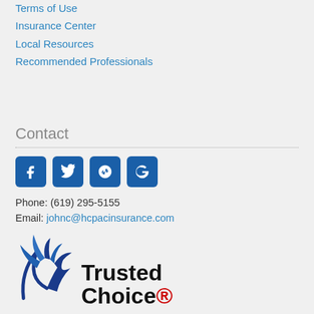Terms of Use
Insurance Center
Local Resources
Recommended Professionals
Contact
[Figure (infographic): Social media icons for Facebook, Twitter, Yelp, and Google]
Phone: (619) 295-5155
Email: johnc@hcpacinsurance.com
[Figure (logo): Trusted Choice logo with eagle/phoenix bird illustration and bold text reading Trusted Choice]